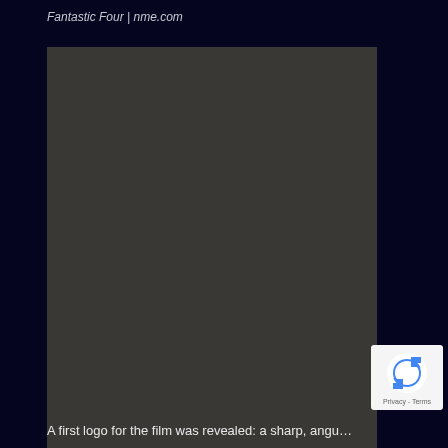Fantastic Four | nme.com
[Figure (photo): Dark rectangular image placeholder, appears as a solid dark gray/brown rectangle, likely a loading or unavailable image for a Fantastic Four film article on nme.com]
[Figure (logo): reCAPTCHA badge in bottom-right corner showing the reCAPTCHA logo (blue and white circular arrow icon) with 'Privacy - Terms' text below]
A first logo for the film was revealed: a sharp, angu…